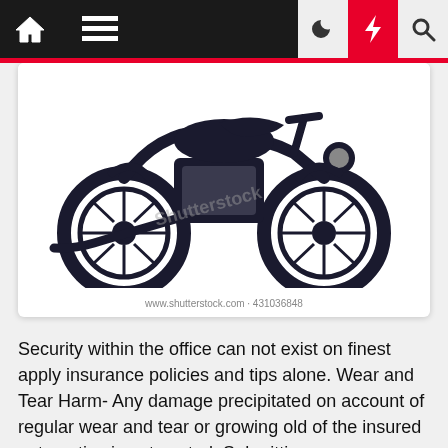Navigation bar with home, menu, moon, bolt, and search icons
[Figure (illustration): Black and white woodcut/linocut style illustration of a vintage motorcycle, shown from the side. The image has a Shutterstock watermark. Credit: www.shutterstock.com · 431036848]
www.shutterstock.com · 431036848
Security within the office can not exist on finest apply insurance policies and tips alone. Wear and Tear Harm- Any damage precipitated on account of regular wear and tear or growing old of the insured automotive is not coated. Submitting an non owner sr22 insurance coverage won't add to your […]